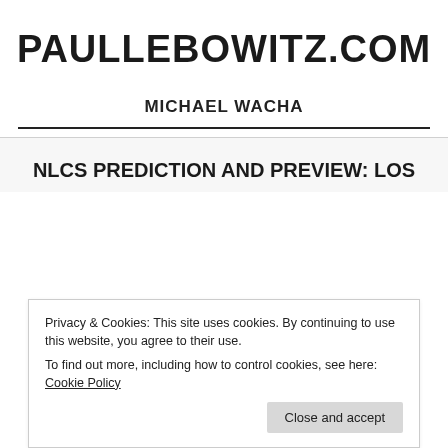PAULLEBOWITZ.COM
MICHAEL WACHA
NLCS PREDICTION AND PREVIEW: LOS
Privacy & Cookies: This site uses cookies. By continuing to use this website, you agree to their use.
To find out more, including how to control cookies, see here: Cookie Policy
Close and accept